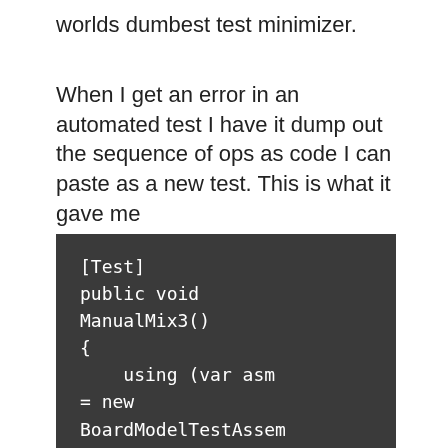worlds dumbest test minimizer.
When I get an error in an automated test I have it dump out the sequence of ops as code I can paste as a new test. This is what it gave me
[Figure (screenshot): Dark background code block showing C# test method: [Test] public void ManualMix3() { using (var asm = new BoardModelTestAssemblage())]